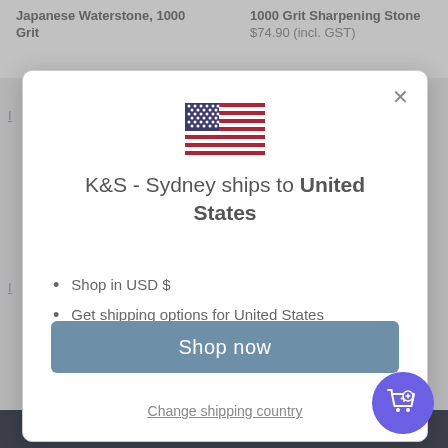Japanese Waterstone, 1000 Grit
1000 Grit Sharpening Stone $74.90 (incl. GST)
[Figure (screenshot): Modal dialog with US flag, shipping message, bullet points, Shop now button, and Change shipping country link]
K&S - Sydney ships to United States
Shop in USD $
Get shipping options for United States
Shop now
Change shipping country
BE THE FIRST TO WRITE A REVIEW